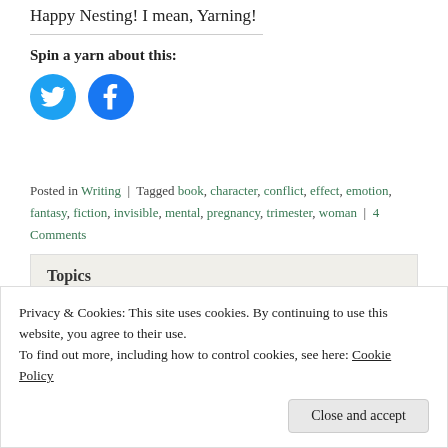Happy Nesting! I mean, Yarning!
Spin a yarn about this:
[Figure (other): Twitter and Facebook social share icon circles]
Posted in Writing | Tagged book, character, conflict, effect, emotion, fantasy, fiction, invisible, mental, pregnancy, trimester, woman | 4 Comments
Topics
Book Reports (23)
Privacy & Cookies: This site uses cookies. By continuing to use this website, you agree to their use.
To find out more, including how to control cookies, see here: Cookie Policy
Close and accept